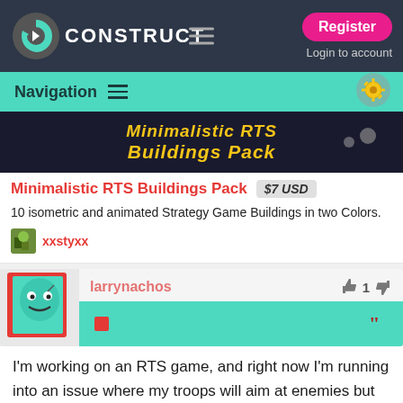[Figure (screenshot): Construct game engine website top navigation bar with logo, hamburger menu, Register button and Login to account link]
Navigation
[Figure (screenshot): Minimalistic RTS Buildings Pack banner image with yellow italic text on dark background]
Minimalistic RTS Buildings Pack  $7 USD
10 isometric and animated Strategy Game Buildings in two Colors.
xxstyxx
larrynachos  1
I'm working on an RTS game, and right now I'm running into an issue where my troops will aim at enemies but only one or two troops will fire at a time, while everyone else just sits around and soaks up bullets. My event sheet looks like this: